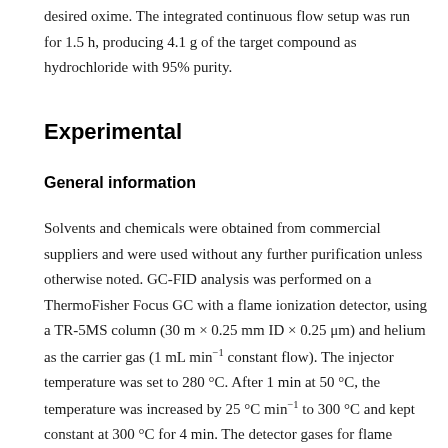desired oxime. The integrated continuous flow setup was run for 1.5 h, producing 4.1 g of the target compound as hydrochloride with 95% purity.
Experimental
General information
Solvents and chemicals were obtained from commercial suppliers and were used without any further purification unless otherwise noted. GC-FID analysis was performed on a ThermoFisher Focus GC with a flame ionization detector, using a TR-5MS column (30 m × 0.25 mm ID × 0.25 μm) and helium as the carrier gas (1 mL min⁻¹ constant flow). The injector temperature was set to 280 °C. After 1 min at 50 °C, the temperature was increased by 25 °C min⁻¹ to 300 °C and kept constant at 300 °C for 4 min. The detector gases for flame ionization were hydrogen and synthetic air (5.0 quality). GC-MS spectra were recorded using a ThermoFisher Focus GC coupled with a DSQ II (EI,